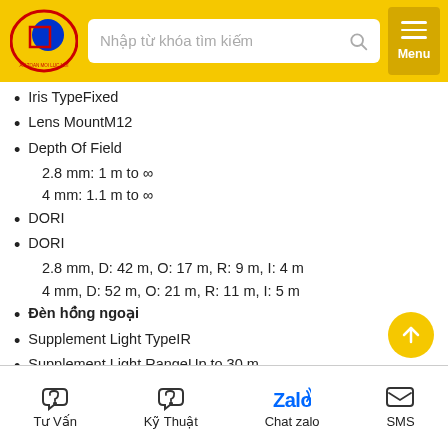Nhập từ khóa tìm kiếm | Menu
Iris TypeFixed
Lens MountM12
Depth Of Field
2.8 mm: 1 m to ∞
4 mm: 1.1 m to ∞
DORI
DORI
2.8 mm, D: 42 m, O: 17 m, R: 9 m, I: 4 m
4 mm, D: 52 m, O: 21 m, R: 11 m, I: 5 m
Đèn hồng ngoại
Supplement Light TypeIR
Supplement Light RangeUp to 30 m
Smart Supplement LightYes
IR Wavelength850 nm
Hình ảnh
Tư Vấn | Kỹ Thuật | Chat zalo | SMS